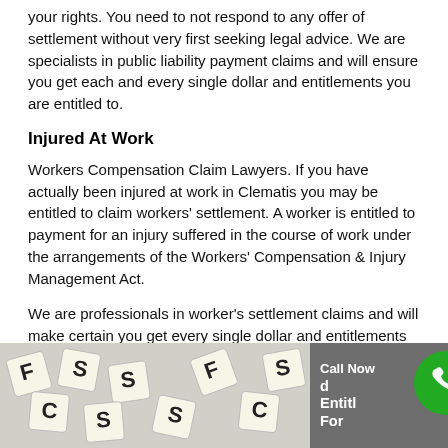your rights. You need to not respond to any offer of settlement without very first seeking legal advice. We are specialists in public liability payment claims and will ensure you get each and every single dollar and entitlements you are entitled to.
Injured At Work
Workers Compensation Claim Lawyers. If you have actually been injured at work in Clematis you may be entitled to claim workers' settlement. A worker is entitled to payment for an injury suffered in the course of work under the arrangements of the Workers' Compensation & Injury Management Act.
We are professionals in worker's settlement claims and will make certain you get every single dollar and entitlements you are entitled to.
[Figure (photo): Scrabble letter tiles scattered together, showing letters S, F, C and others, with a dark overlay panel showing 'Call Now' text and a green phone icon circle, and partially visible text about entitlements.]